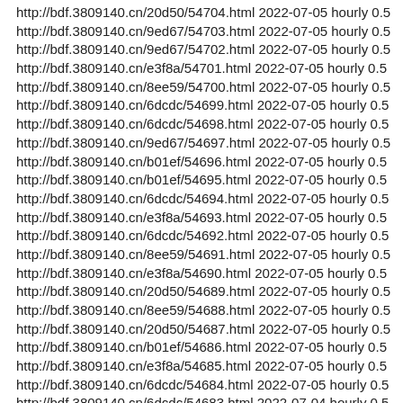http://bdf.3809140.cn/20d50/54704.html 2022-07-05 hourly 0.5
http://bdf.3809140.cn/9ed67/54703.html 2022-07-05 hourly 0.5
http://bdf.3809140.cn/9ed67/54702.html 2022-07-05 hourly 0.5
http://bdf.3809140.cn/e3f8a/54701.html 2022-07-05 hourly 0.5
http://bdf.3809140.cn/8ee59/54700.html 2022-07-05 hourly 0.5
http://bdf.3809140.cn/6dcdc/54699.html 2022-07-05 hourly 0.5
http://bdf.3809140.cn/6dcdc/54698.html 2022-07-05 hourly 0.5
http://bdf.3809140.cn/9ed67/54697.html 2022-07-05 hourly 0.5
http://bdf.3809140.cn/b01ef/54696.html 2022-07-05 hourly 0.5
http://bdf.3809140.cn/b01ef/54695.html 2022-07-05 hourly 0.5
http://bdf.3809140.cn/6dcdc/54694.html 2022-07-05 hourly 0.5
http://bdf.3809140.cn/e3f8a/54693.html 2022-07-05 hourly 0.5
http://bdf.3809140.cn/6dcdc/54692.html 2022-07-05 hourly 0.5
http://bdf.3809140.cn/8ee59/54691.html 2022-07-05 hourly 0.5
http://bdf.3809140.cn/e3f8a/54690.html 2022-07-05 hourly 0.5
http://bdf.3809140.cn/20d50/54689.html 2022-07-05 hourly 0.5
http://bdf.3809140.cn/8ee59/54688.html 2022-07-05 hourly 0.5
http://bdf.3809140.cn/20d50/54687.html 2022-07-05 hourly 0.5
http://bdf.3809140.cn/b01ef/54686.html 2022-07-05 hourly 0.5
http://bdf.3809140.cn/e3f8a/54685.html 2022-07-05 hourly 0.5
http://bdf.3809140.cn/6dcdc/54684.html 2022-07-05 hourly 0.5
http://bdf.3809140.cn/6dcdc/54683.html 2022-07-04 hourly 0.5
http://bdf.3809140.cn/8ee59/54682.html 2022-07-04 hourly 0.5
http://bdf.3809140.cn/20d50/54681.html 2022-07-04 hourly 0.5
http://bdf.3809140.cn/e3f8a/54680.html 2022-07-04 hourly 0.5